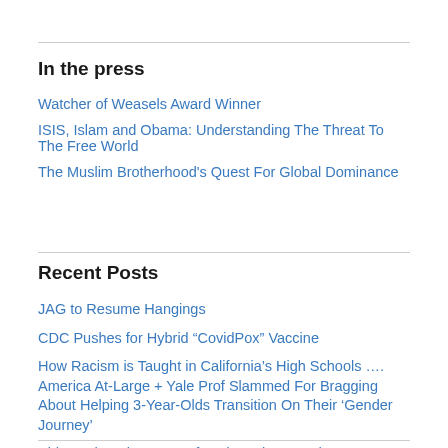In the press
Watcher of Weasels Award Winner
ISIS, Islam and Obama: Understanding The Threat To The Free World
The Muslim Brotherhood's Quest For Global Dominance
Recent Posts
JAG to Resume Hangings
CDC Pushes for Hybrid “CovidPox” Vaccine
How Racism is Taught in California’s High Schools …. America At-Large + Yale Prof Slammed For Bragging About Helping 3-Year-Olds Transition On Their ‘Gender Journey’
Biden ushers in an era of nuclear chaos and war
GITMO GOES to “BATTLE STATIONS” AMID MAR-A-LAGO SIEGE